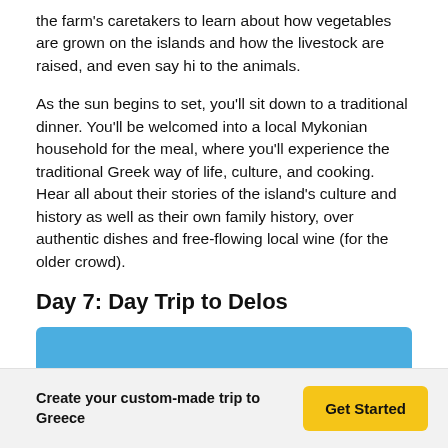the farm's caretakers to learn about how vegetables are grown on the islands and how the livestock are raised, and even say hi to the animals.
As the sun begins to set, you'll sit down to a traditional dinner. You'll be welcomed into a local Mykonian household for the meal, where you'll experience the traditional Greek way of life, culture, and cooking. Hear all about their stories of the island's culture and history as well as their own family history, over authentic dishes and free-flowing local wine (for the older crowd).
Day 7: Day Trip to Delos
[Figure (other): Blue and yellow banner/image placeholder for Day 7 section]
Create your custom-made trip to Greece | Get Started